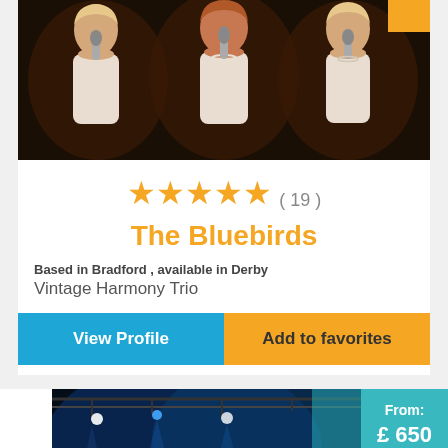[Figure (photo): Three female vocalists in vintage/retro style holding microphones, wearing light-colored dresses, dark background]
★★★★★ ( 19 )
The Bluebirds
Based in Bradford , available in Derby
Vintage Harmony Trio
View Profile
Add to favorites
[Figure (photo): Band performing on stage with blue stage lighting, trusses visible overhead, performer in red jacket in foreground]
From: £ 650